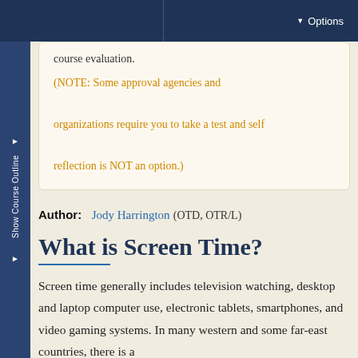Options
course evaluation.
(NOTE: Some approval agencies and organizations require you to take a test and self reflection is NOT an option.)
Author: Jody Harrington (OTD, OTR/L)
What is Screen Time?
Screen time generally includes television watching, desktop and laptop computer use, electronic tablets, smartphones, and video gaming systems. In many western and some far-east countries, there is a